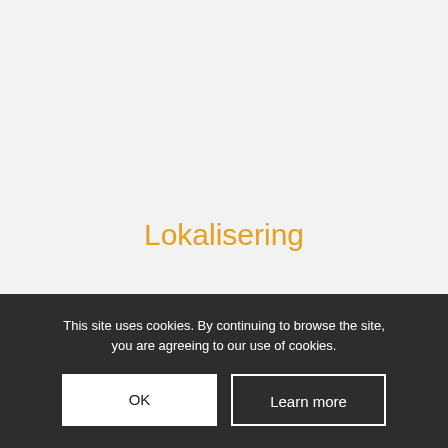Lokalisering
This site uses cookies. By continuing to browse the site, you are agreeing to our use of cookies.
OK
Learn more